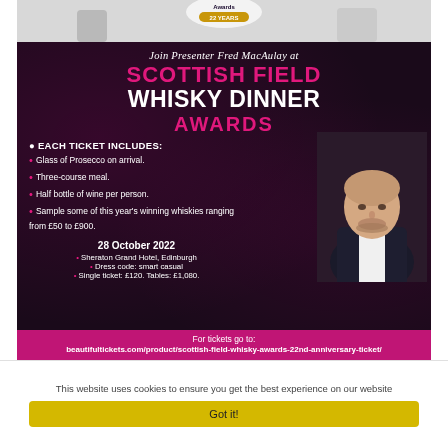[Figure (photo): Top portion of event award imagery with '22 YEARS' badge and people]
Join Presenter Fred MacAulay at
SCOTTISH FIELD WHISKY DINNER AWARDS
EACH TICKET INCLUDES:
Glass of Prosecco on arrival.
Three-course meal.
Half bottle of wine per person.
Sample some of this year's winning whiskies ranging from £50 to £900.
28 October 2022
Sheraton Grand Hotel, Edinburgh
Dress code: smart casual
Single ticket: £120. Tables: £1,080.
[Figure (photo): Photo of presenter Fred MacAulay in dark jacket]
For tickets go to: beautifultickets.com/product/scottish-field-whisky-awards-22nd-anniversary-ticket/
This website uses cookies to ensure you get the best experience on our website
Got it!